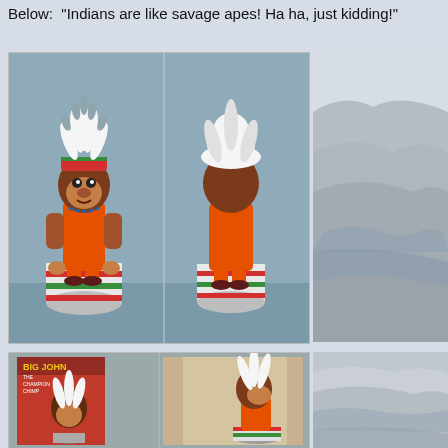Below: "Indians are like savage apes! Ha ha, just kidding!"
[Figure (photo): Two views of a toy monkey dressed in Native American headdress and orange outfit, sitting on a drum. Left: front view. Right: back view.]
[Figure (photo): Aerial landscape photo of arid terrain with a body of water, top right and bottom right background.]
[Figure (photo): Bottom left: Two views of 'Big John the Champion Chimp' toy with its box. Left shows the box front, right shows the toy inside the open box.]
[Figure (photo): Bottom right: continuation of the aerial landscape photo.]